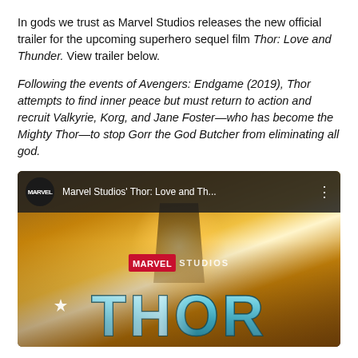In gods we trust as Marvel Studios releases the new official trailer for the upcoming superhero sequel film Thor: Love and Thunder. View trailer below.
Following the events of Avengers: Endgame (2019), Thor attempts to find inner peace but must return to action and recruit Valkyrie, Korg, and Jane Foster—who has become the Mighty Thor—to stop Gorr the God Butcher from eliminating all god.
[Figure (screenshot): YouTube video thumbnail showing Marvel Studios' Thor: Love and Thunder trailer. Top bar shows Marvel logo, title 'Marvel Studios' Thor: Love and Thunder...' and a menu icon. The thumbnail shows a dramatic golden/orange lit scene with the THOR title in large teal metallic letters at the bottom, with MARVEL STUDIOS text in the center.]